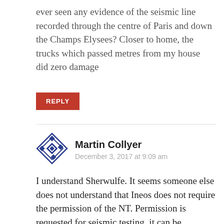ever seen any evidence of the seismic line recorded through the centre of Paris and down the Champs Elysees? Closer to home, the trucks which passed metres from my house did zero damage
REPLY
[Figure (illustration): Avatar icon with geometric diamond/cross pattern in dark blue]
Martin Collyer
December 3, 2017 at 9:09 am
I understand Sherwulfe. It seems someone else does not understand that Ineos does not require the permission of the NT. Permission is requested for seismic testing, it can be ignored/refused by NT, but they do not have a legal right to maintain that as a reason to prevent it happening.
It is positive that it does go to court as it is likely to